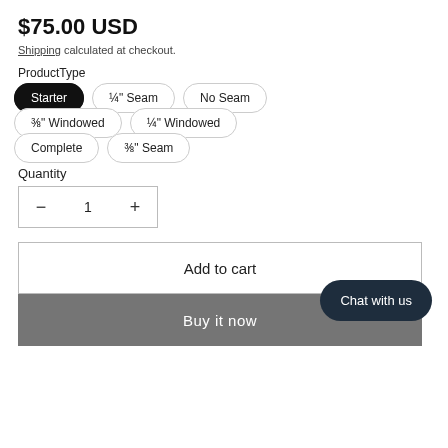$75.00 USD
Shipping calculated at checkout.
ProductType
Starter
¼" Seam
No Seam
⅜" Windowed
¼" Windowed
Complete
⅜" Seam
Quantity
1
Add to cart
Buy it now
Chat with us